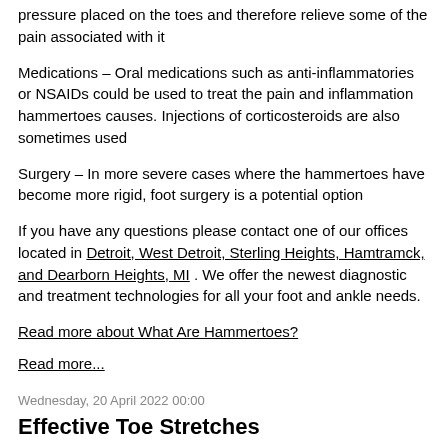pressure placed on the toes and therefore relieve some of the pain associated with it
Medications – Oral medications such as anti-inflammatories or NSAIDs could be used to treat the pain and inflammation hammertoes causes. Injections of corticosteroids are also sometimes used
Surgery – In more severe cases where the hammertoes have become more rigid, foot surgery is a potential option
If you have any questions please contact one of our offices located in Detroit, West Detroit, Sterling Heights, Hamtramck, and Dearborn Heights, MI . We offer the newest diagnostic and treatment technologies for all your foot and ankle needs.
Read more about What Are Hammertoes?
Read more...
Wednesday, 20 April 2022 00:00
Effective Toe Stretches